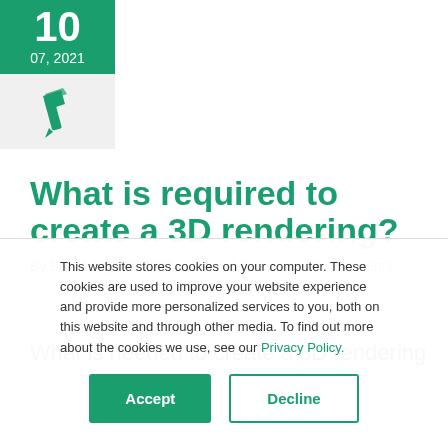10
07, 2021
[Figure (illustration): Pen/quill icon on light grey background]
What is required to create a 3D rendering?
By Broz | July 10, 2021 | General Questions | 0 Comments
What is needed to create a 3D rendering
This website stores cookies on your computer. These cookies are used to improve your website experience and provide more personalized services to you, both on this website and through other media. To find out more about the cookies we use, see our Privacy Policy.